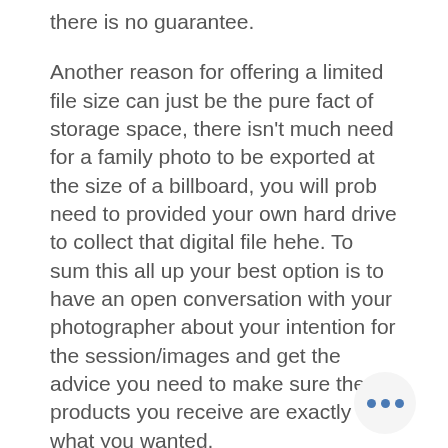there is no guarantee.
Another reason for offering a limited file size can just be the pure fact of storage space, there isn't much need for a family photo to be exported at the size of a billboard, you will prob need to provided your own hard drive to collect that digital file hehe. To sum this all up your best option is to have an open conversation with your photographer about your intention for the session/images and get the advice you need to make sure the products you receive are exactly what you wanted.